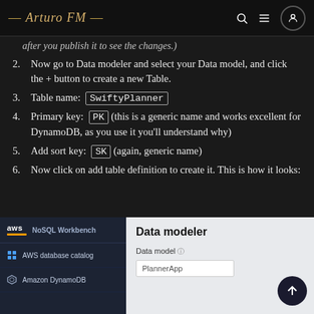Arturo FM
after you publish it to see the changes.)
2. Now go to Data modeler and select your Data model, and click the + button to create a new Table.
3. Table name: SwiftyPlanner
4. Primary key: PK (this is a generic name and works excellent for DynamoDB, as you use it you’ll understand why)
5. Add sort key: SK (again, generic name)
6. Now click on add table definition to create it. This is how it looks:
[Figure (screenshot): AWS NoSQL Workbench screenshot showing the Data modeler panel with a Data model field containing 'PlannerApp'. The left sidebar shows NoSQL Workbench branding with AWS logo, AWS database catalog, and Amazon DynamoDB navigation items.]